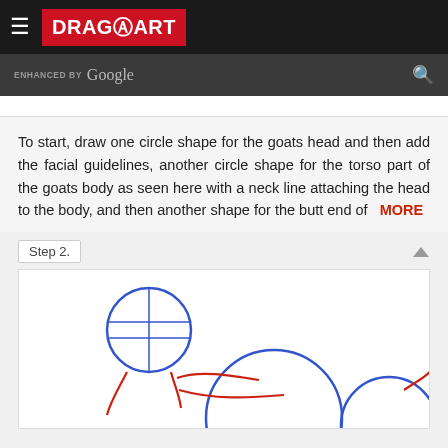DRAGOART
ENHANCED BY Google
To start, draw one circle shape for the goats head and then add the facial guidelines, another circle shape for the torso part of the goats body as seen here with a neck line attaching the head to the body, and then another shape for the butt end of MORE
Step 2.
[Figure (illustration): Step 2 drawing illustration of a goat in progress, showing a circle for the head with cross guidelines, and partial red and blue sketch lines for the goat's body and torso shapes below.]